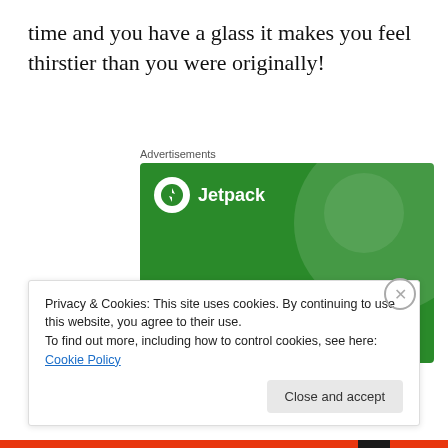time and you have a glass it makes you feel thirstier than you were originally!
Advertisements
[Figure (illustration): Jetpack advertisement: green background with large decorative circles and white text reading 'The best real-time WordPress backup plugin', with Jetpack logo in top-left corner.]
Privacy & Cookies: This site uses cookies. By continuing to use this website, you agree to their use.
To find out more, including how to control cookies, see here: Cookie Policy
Close and accept